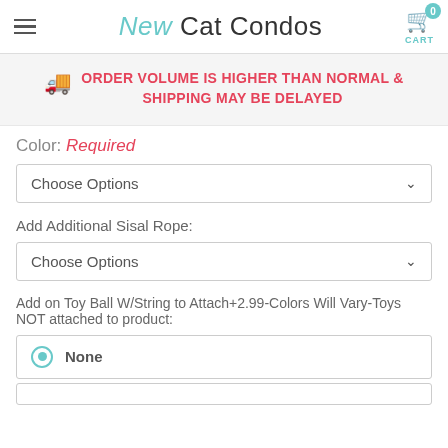New Cat Condos
ORDER VOLUME IS HIGHER THAN NORMAL & SHIPPING MAY BE DELAYED
Color: Required
Choose Options
Add Additional Sisal Rope:
Choose Options
Add on Toy Ball W/String to Attach+2.99-Colors Will Vary-Toys NOT attached to product:
None